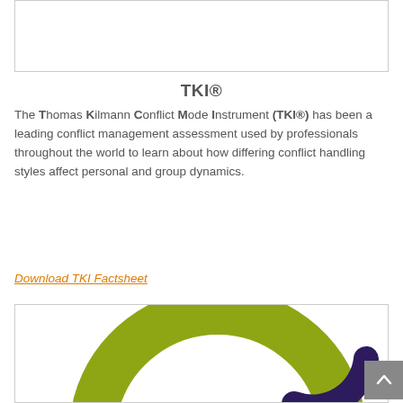[Figure (other): Top image box placeholder (cropped image of TKI product)]
TKI®
The Thomas Kilmann Conflict Mode Instrument (TKI®) has been a leading conflict management assessment used by professionals throughout the world to learn about how differing conflict handling styles affect personal and group dynamics.
Download TKI Factsheet
[Figure (other): Bottom image box showing partial circular graphic (olive green arc) from TKI product imagery]